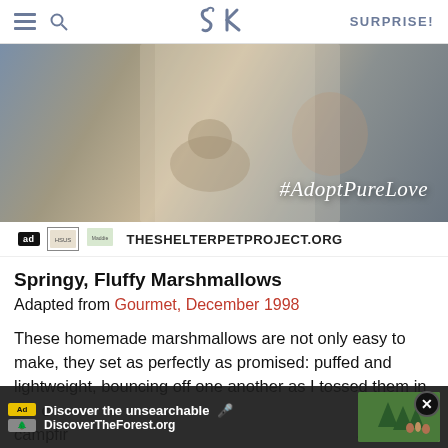SK | SURPRISE!
[Figure (photo): Advertisement photo showing a man and a cat at a window with text #AdoptPureLove and logos for TheShelterpetProject.org]
ad [humane society logo] [maddie's fund logo] THESHELTERPETPROJECT.ORG
Springy, Fluffy Marshmallows
Adapted from Gourmet, December 1998
These homemade marshmallows are not only easy to make, they set as perfectly as promised: puffed and lightweight, bouncing off one another as I tossed them in the c... campfir... and
[Figure (screenshot): Bottom advertisement banner: Discover the unsearchable / DiscoverTheForest.org with a photo of people in a forest and a close button]